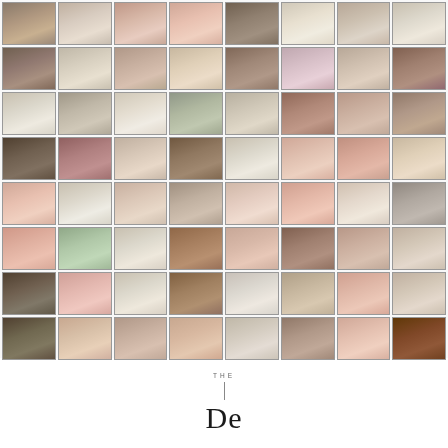[Figure (photo): A collage of approximately 64 headshot/portrait photographs arranged in an 8-column by 8-row grid. The photos show diverse individuals (men and women of various ethnicities) in professional or semi-professional attire. The grid covers most of the page.]
THE
De...